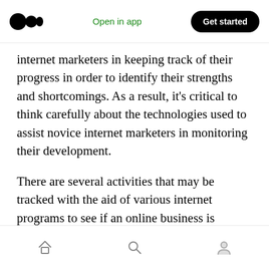Open in app | Get started
internet marketers in keeping track of their progress in order to identify their strengths and shortcomings. As a result, it’s critical to think carefully about the technologies used to assist novice internet marketers in monitoring their development.
There are several activities that may be tracked with the aid of various internet programs to see if an online business is working.
These functions include:
Home | Search | Profile